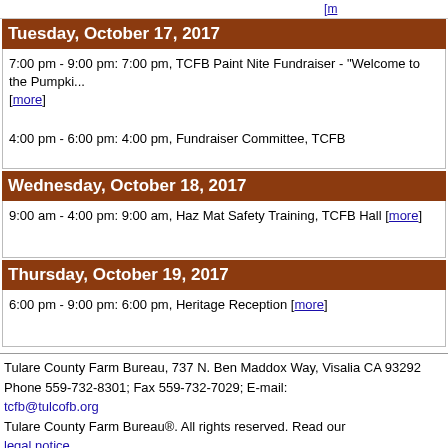[more]
Tuesday, October 17, 2017
7:00 pm - 9:00 pm: 7:00 pm, TCFB Paint Nite Fundraiser - "Welcome to the Pumpki... [more]
4:00 pm - 6:00 pm: 4:00 pm, Fundraiser Committee, TCFB
Wednesday, October 18, 2017
9:00 am - 4:00 pm: 9:00 am, Haz Mat Safety Training, TCFB Hall [more]
Thursday, October 19, 2017
6:00 pm - 9:00 pm: 6:00 pm, Heritage Reception [more]
Tulare County Farm Bureau, 737 N. Ben Maddox Way, Visalia CA 93292
Phone 559-732-8301; Fax 559-732-7029; E-mail: tcfb@tulcofb.org
Tulare County Farm Bureau®. All rights reserved. Read our legal notice.
Copyright 2022